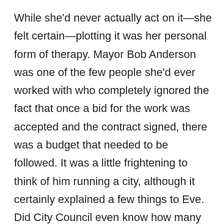While she'd never actually act on it—she felt certain—plotting it was her personal form of therapy. Mayor Bob Anderson was one of the few people she'd ever worked with who completely ignored the fact that once a bid for the work was accepted and the contract signed, there was a budget that needed to be followed. It was a little frightening to think of him running a city, although it certainly explained a few things to Eve. Did City Council even know how many changes to the new City Hall design he'd already authorized?

As a project manager for Sullivan Construction, the company that won the tender for the new building, it was